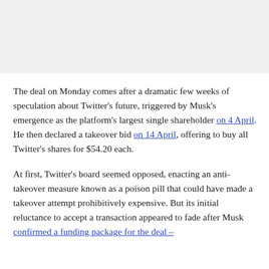The deal on Monday comes after a dramatic few weeks of speculation about Twitter's future, triggered by Musk's emergence as the platform's largest single shareholder on 4 April. He then declared a takeover bid on 14 April, offering to buy all Twitter's shares for $54.20 each.
At first, Twitter's board seemed opposed, enacting an anti-takeover measure known as a poison pill that could have made a takeover attempt prohibitively expensive. But its initial reluctance to accept a transaction appeared to fade after Musk confirmed a funding package for the deal –